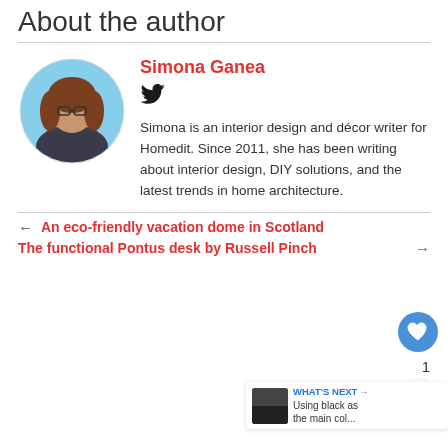About the author
[Figure (photo): Circular portrait photo of Simona Ganea, a woman with glasses and long reddish-brown hair, sitting outdoors.]
Simona Ganea
[Figure (other): Twitter bird icon]
Simona is an interior design and décor writer for Homedit. Since 2011, she has been writing about interior design, DIY solutions, and the latest trends in home architecture.
← An eco-friendly vacation dome in Scotland
The functional Pontus desk by Russell Pinch →